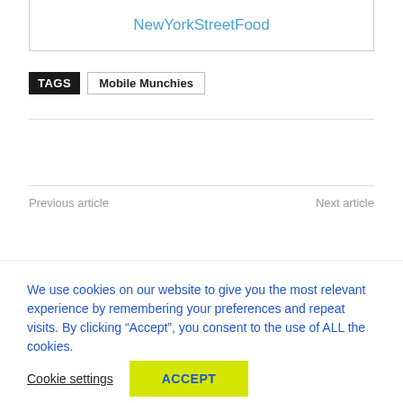NewYorkStreetFood
TAGS   Mobile Munchies
Previous article
Next article
We use cookies on our website to give you the most relevant experience by remembering your preferences and repeat visits. By clicking “Accept”, you consent to the use of ALL the cookies.
Cookie settings
ACCEPT